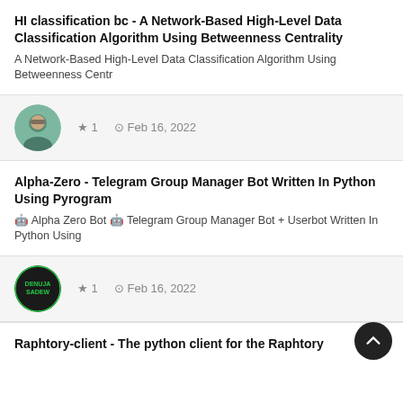HI classification bc - A Network-Based High-Level Data Classification Algorithm Using Betweenness Centrality
A Network-Based High-Level Data Classification Algorithm Using Betweenness Centr
[Figure (photo): Circular avatar of a person wearing glasses]
★ 1   🕐 Feb 16, 2022
Alpha-Zero - Telegram Group Manager Bot Written In Python Using Pyrogram
🤖 Alpha Zero Bot 🤖 Telegram Group Manager Bot + Userbot Written In Python Using
[Figure (logo): Circular logo with green text reading DENUJA SADEW on dark background]
★ 1   🕐 Feb 16, 2022
Raphtory-client - The python client for the Raphtory